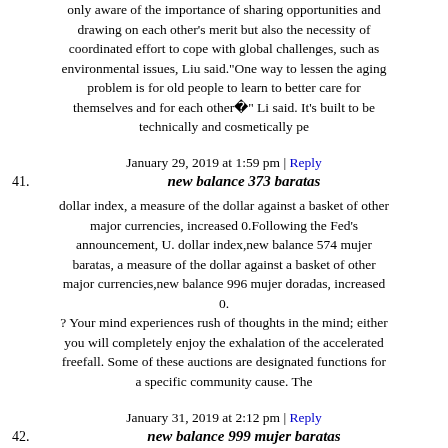only aware of the importance of sharing opportunities and drawing on each other's merit but also the necessity of coordinated effort to cope with global challenges, such as environmental issues, Liu said."One way to lessen the aging problem is for old people to learn to better care for themselves and for each other " Li said. It’s built to be technically and cosmetically pe
January 29, 2019 at 1:59 pm | Reply
41. new balance 373 baratas
dollar index, a measure of the dollar against a basket of other major currencies, increased 0.Following the Fed's announcement, U. dollar index,new balance 574 mujer baratas, a measure of the dollar against a basket of other major currencies,new balance 996 mujer doradas, increased 0.
? Your mind experiences rush of thoughts in the mind; either you will completely enjoy the exhalation of the accelerated freefall. Some of these auctions are designated functions for a specific community cause. The
January 31, 2019 at 2:12 pm | Reply
42. new balance 999 mujer baratas
The Fed has raised interest rates twice this year, in March